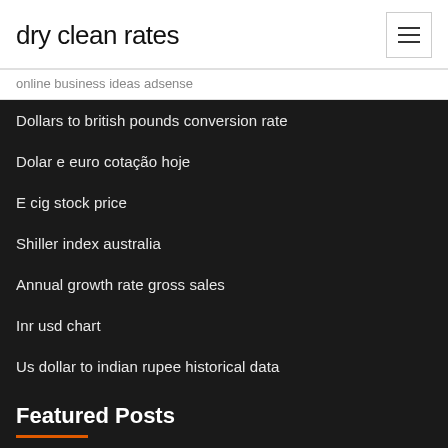dry clean rates
online business ideas adsense
Dollars to british pounds conversion rate
Dolar e euro cotação hoje
E cig stock price
Shiller index australia
Annual growth rate gross sales
Inr usd chart
Us dollar to indian rupee historical data
Featured Posts
Normal interest rate for mortgage loan